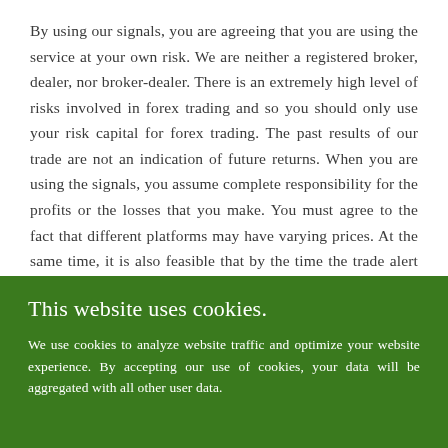By using our signals, you are agreeing that you are using the service at your own risk. We are neither a registered broker, dealer, nor broker-dealer. There is an extremely high level of risks involved in forex trading and so you should only use your risk capital for forex trading. The past results of our trade are not an indication of future returns. When you are using the signals, you assume complete responsibility for the profits or the losses that you make. You must agree to the fact that different platforms may have varying prices. At the same time, it is also feasible that by the time the trade alert is received, the data might have
This website uses cookies.
We use cookies to analyze website traffic and optimize your website experience. By accepting our use of cookies, your data will be aggregated with all other user data.